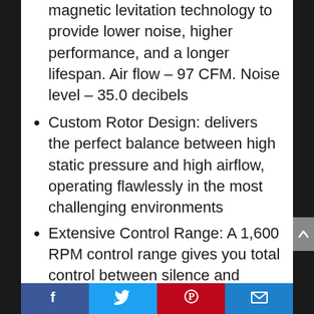magnetic levitation technology to provide lower noise, higher performance, and a longer lifespan. Air flow – 97 CFM. Noise level – 35.0 decibels
Custom Rotor Design: delivers the perfect balance between high static pressure and high airflow, operating flawlessly in the most challenging environments
Extensive Control Range: A 1,600 RPM control range gives you total control between silence and absolute performance
Color Customization: Replaceable